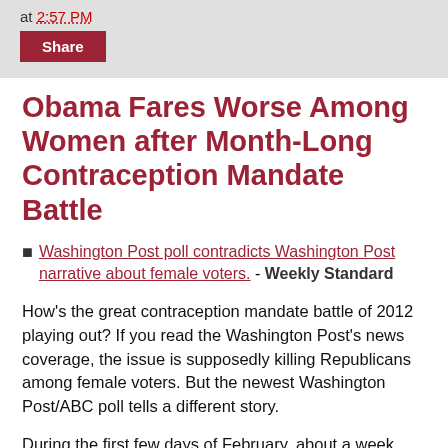at 2:57 PM
Share
Obama Fares Worse Among Women after Month-Long Contraception Mandate Battle
■ Washington Post poll contradicts Washington Post narrative about female voters. - Weekly Standard
How's the great contraception mandate battle of 2012 playing out? If you read the Washington Post's news coverage, the issue is supposedly killing Republicans among female voters. But the newest Washington Post/ABC poll tells a different story.
During the first few days of February, about a week before Obama declared a so-called "accommodation" to the contraception/abortifacient mandate, a Washington Post/ABC poll showed Obama's approval rating at 50...